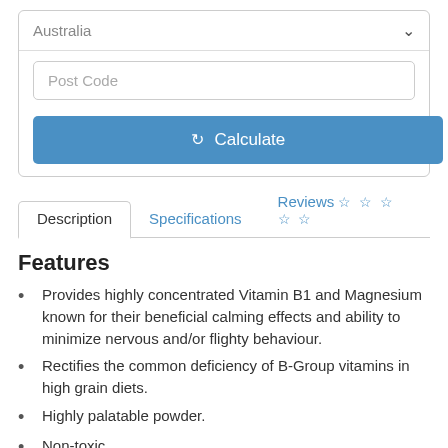Australia
Post Code
Calculate
Description
Specifications
Reviews ☆ ☆ ☆ ☆ ☆
Features
Provides highly concentrated Vitamin B1 and Magnesium known for their beneficial calming effects and ability to minimize nervous and/or flighty behaviour.
Rectifies the common deficiency of B-Group vitamins in high grain diets.
Highly palatable powder.
Non-toxic.
Benefits
Proven to calm nervous horses.